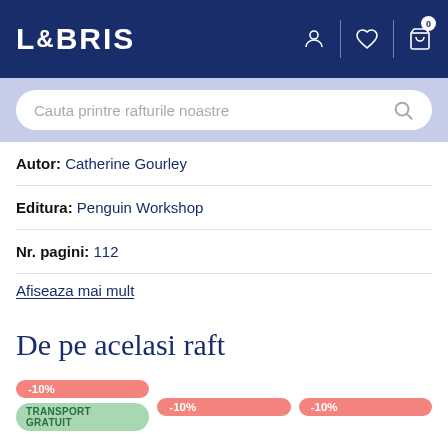LIBRIS
Cauta printre rafturile noastre
Autor: Catherine Gourley
Editura: Penguin Workshop
Nr. pagini: 112
Afiseaza mai mult
De pe acelasi raft
-10% TRANSPORT GRATUIT -10%